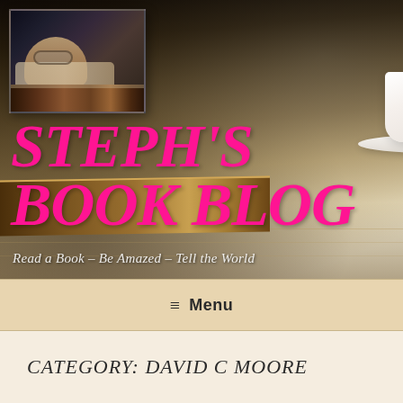[Figure (photo): Hero banner background showing a blurred coffee cup on books on a wooden table, with a smaller inset thumbnail photo of a person sleeping on books. Large pink italic 'STEPH'S BOOK BLOG' text overlay and white italic tagline 'Read a Book – Be Amazed – Tell the World']
STEPH'S BOOK BLOG
Read a Book – Be Amazed – Tell the World
≡ Menu
CATEGORY: DAVID C MOORE